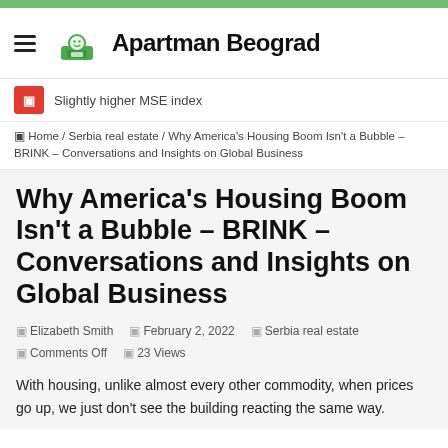Apartman Beograd
Slightly higher MSE index
Home / Serbia real estate / Why America's Housing Boom Isn't a Bubble – BRINK – Conversations and Insights on Global Business
Why America's Housing Boom Isn't a Bubble – BRINK – Conversations and Insights on Global Business
Elizabeth Smith  February 2, 2022  Serbia real estate  Comments Off  23 Views
With housing, unlike almost every other commodity, when prices go up, we just don't see the building reacting the same way.